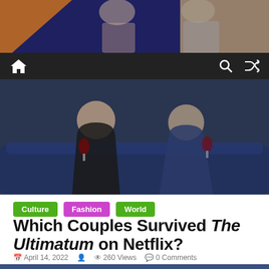[Figure (photo): Top screenshot of a TV show: a blonde woman and a man in light blue shirt sitting together against a dark blue background]
Navigation bar with home icon, search icon, and shuffle icon
[Figure (photo): TV show still: woman in black dress and man in suit sitting on a dark blue couch, holding wine glasses]
Culture
Fashion
World
Which Couples Survived The Ultimatum on Netflix?
April 14, 2022  260 Views  0 Comments
[Figure (photo): Group of people celebrating in a stylishly lit room with bookshelves, raising glasses]